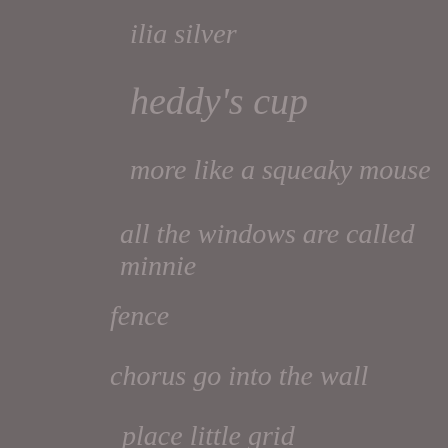ilia silver
heddy's cup
more like a squeaky mouse
all the windows are called minnie
fence
chorus go into the wall
place little grid
[Figure (illustration): A loading spinner / starburst icon in dark color centered on the page, with radiating lines suggesting rotation or loading state. Below it appears additional faded photographic or illustrated content obscured by the gray overlay.]